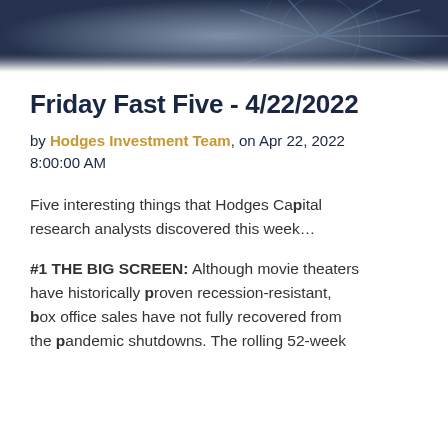[Figure (photo): Dark blue header image with clock/compass graphic in background]
Friday Fast Five - 4/22/2022
by Hodges Investment Team, on Apr 22, 2022 8:00:00 AM
Five interesting things that Hodges Capital research analysts discovered this week…
#1 THE BIG SCREEN: Although movie theaters have historically proven recession-resistant, box office sales have not fully recovered from the pandemic shutdowns. The rolling 52-week